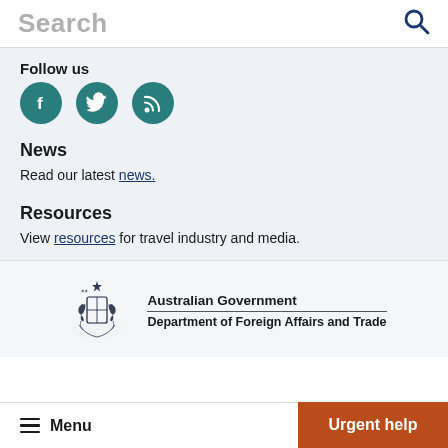Search
Follow us
[Figure (illustration): Three teal social media icon circles: Facebook (f), Twitter (bird), RSS (signal/wifi)]
News
Read our latest news.
Resources
View resources for travel industry and media.
[Figure (logo): Australian Government coat of arms logo with kangaroo and emu]
Australian Government Department of Foreign Affairs and Trade
Menu   Urgent help